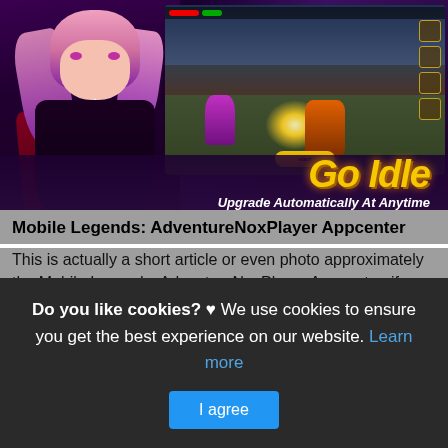[Figure (screenshot): Mobile Legends Adventure game banner with anime character on left, gameplay screenshot on right, 'Go Idle - Upgrade Automatically At Anytime' text overlay on dark purple background]
Mobile Legends: AdventureNoxPlayer Appcenter
This is actually a short article or even photo approximately the Mobile Legends: AdventureNoxPlayer Appcenter, if you desire even more relevant information approximately the write-up or even graphic feel free to hit or even check out
Do you like cookies? ♥ We use cookies to ensure you get the best experience on our website. Learn more
I agree